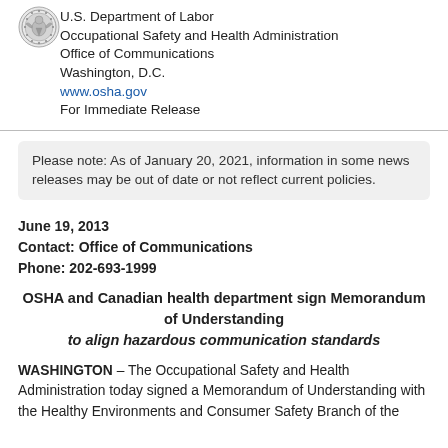[Figure (logo): U.S. Department of Labor seal/emblem, circular, at top left]
U.S. Department of Labor
Occupational Safety and Health Administration
Office of Communications
Washington, D.C.
www.osha.gov
For Immediate Release
Please note: As of January 20, 2021, information in some news releases may be out of date or not reflect current policies.
June 19, 2013
Contact: Office of Communications
Phone: 202-693-1999
OSHA and Canadian health department sign Memorandum of Understanding
to align hazardous communication standards
WASHINGTON – The Occupational Safety and Health Administration today signed a Memorandum of Understanding with the Healthy Environments and Consumer Safety Branch of the